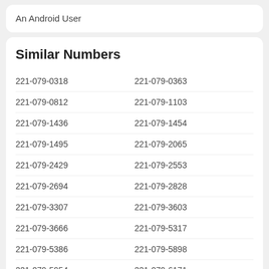An Android User
Similar Numbers
221-079-0318
221-079-0363
221-079-0812
221-079-1103
221-079-1436
221-079-1454
221-079-1495
221-079-2065
221-079-2429
221-079-2553
221-079-2694
221-079-2828
221-079-3307
221-079-3603
221-079-3666
221-079-5317
221-079-5386
221-079-5898
221-079-5954
221-079-6171
221-079-6642
221-079-6884